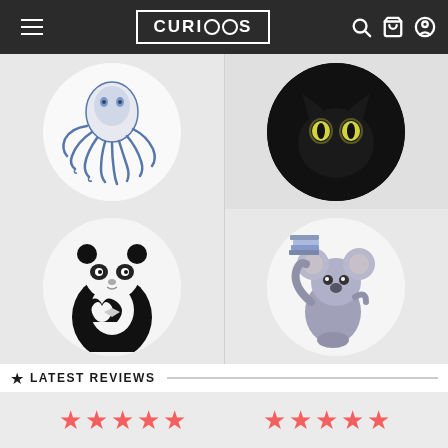CURIOOS navigation bar with hamburger menu, logo, search, cart, and account icons
[Figure (illustration): Circular product coaster with blue octopus illustration on white background]
[Figure (photo): Circular product with black cat with glowing eyes on dark background]
[Figure (illustration): Circular product with black and white panda making heart shape with hands]
[Figure (illustration): Circular product with koala holding books on white background]
LATEST REVIEWS
[Figure (other): Two groups of five red star ratings in a light grey review section]